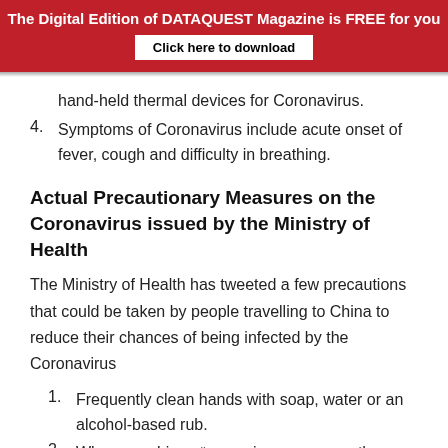The Digital Edition of DATAQUEST Magazine is FREE for you
Click here to download
hand-held thermal devices for Coronavirus.
Symptoms of Coronavirus include acute onset of fever, cough and difficulty in breathing.
Actual Precautionary Measures on the Coronavirus issued by the Ministry of Health
The Ministry of Health has tweeted a few precautions that could be taken by people travelling to China to reduce their chances of being infected by the Coronavirus
Frequently clean hands with soap, water or an alcohol-based rub.
When coughing or sneezing, cover mouth